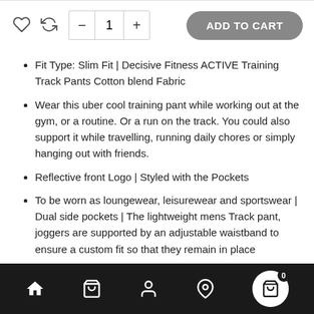[Figure (screenshot): E-commerce product page UI with heart/refresh icons, quantity selector (minus, 1, plus), and ADD TO CART button]
Fit Type: Slim Fit | Decisive Fitness ACTIVE Training Track Pants Cotton blend Fabric
Wear this uber cool training pant while working out at the gym, or a routine. Or a run on the track. You could also support it while travelling, running daily chores or simply hanging out with friends.
Reflective front Logo | Styled with the Pockets
To be worn as loungewear, leisurewear and sportswear | Dual side pockets | The lightweight mens Track pant, joggers are supported by an adjustable waistband to ensure a custom fit so that they remain in place
[Figure (screenshot): Mobile bottom navigation bar with home, bag, user, location, and shopping cart icons on black background]